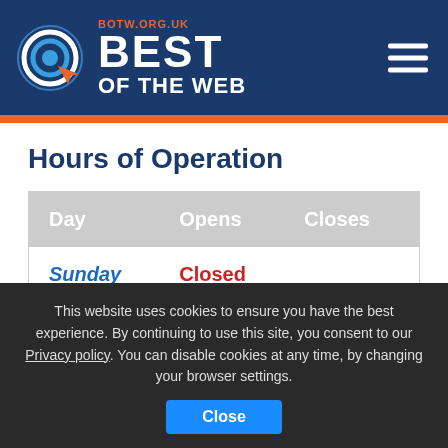[Figure (logo): Best of the Web logo with circular target icon and orange cursor arrow, white text reading BEST OF THE WEB, BOTW.ORG.UK in orange, on dark navy background]
Hours of Operation
| Day | Opens | Closes |
| --- | --- | --- |
| Sunday | Closed |  |
| Monday | 9:00 AM | 6:00 PM |
This website uses cookies to ensure you have the best experience. By continuing to use this site, you consent to our Privacy policy. You can disable cookies at any time, by changing your browser settings.